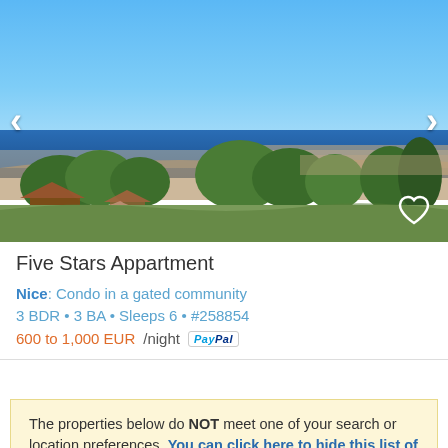[Figure (photo): Aerial/hilltop view of a Mediterranean city with blue sea in the background, trees and rooftops in foreground. Navigation arrows on left and right, heart icon bottom-right.]
Five Stars Appartment
Nice: Condo in a gated community
3 BDR • 3 BA • Sleeps 6 • #258854
600 to 1,000 EUR/night [PayPal]
The properties below do NOT meet one of your search or location preferences. You can click here to hide this list of